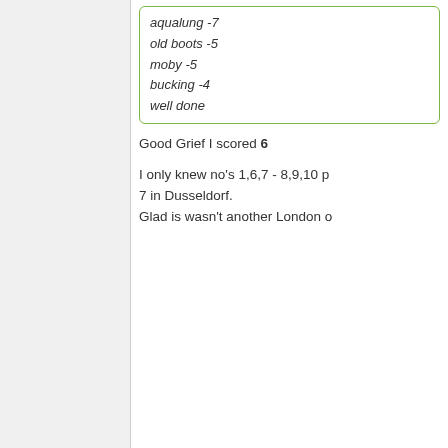aqualung -7
old boots -5
moby -5
bucking -4
well done
Good Grief I scored 6
I only knew no's 1,6,7 - 8,9,10 p... 7 in Dusseldorf.
Glad is wasn't another London o...
04-05-2020, 19:50
Aqualung
This Space For Hire
Join Date: May 2012
Posts: 4,485
[Figure (illustration): User avatar showing a painted illustration of a bearded figure]
Originally Posted by rp
I suspect that:
a) it would have been sc...
b) if you remember anyth...
sold the grockle version!
Hills cider used to be the cider m...